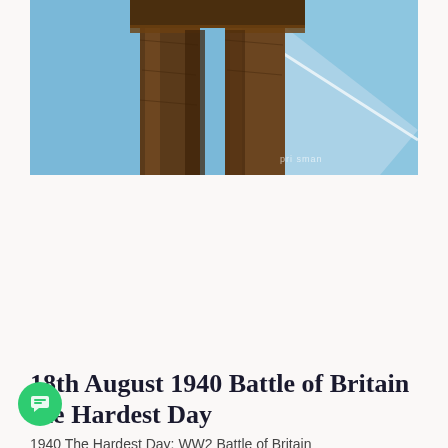[Figure (photo): Close-up of a bronze statue's lower body/legs against a blue sky with contrail. Partial watermark text visible in lower right corner.]
18th August 1940 Battle of Britain the Hardest Day
1940 The Hardest Day: WW2 Battle of Britain